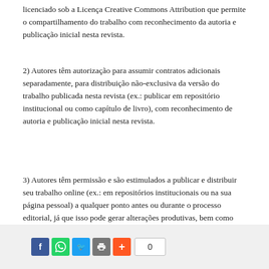licenciado sob a Licença Creative Commons Attribution que permite o compartilhamento do trabalho com reconhecimento da autoria e publicação inicial nesta revista.
2) Autores têm autorização para assumir contratos adicionais separadamente, para distribuição não-exclusiva da versão do trabalho publicada nesta revista (ex.: publicar em repositório institucional ou como capítulo de livro), com reconhecimento de autoria e publicação inicial nesta revista.
3) Autores têm permissão e são estimulados a publicar e distribuir seu trabalho online (ex.: em repositórios institucionais ou na sua página pessoal) a qualquer ponto antes ou durante o processo editorial, já que isso pode gerar alterações produtivas, bem como aumentar o impacto e a citação do trabalho publicado.
[Figure (other): Social sharing bar with Facebook, WhatsApp, Twitter, print, and plus buttons, and a share count of 0]